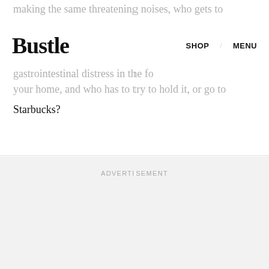making the same threatening noises, who gets to gastrointestinal distress in the fo your home, and who has to try to hold it, or go to
Bustle   SHOP   MENU
Starbucks?
ADVERTISEMENT